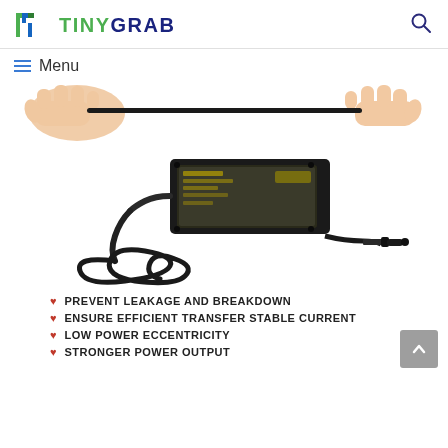TINYGRAB
≡ Menu
[Figure (photo): Product image showing a black AC power adapter/charger with coiled cable and DC connector, with two hands stretching a thin black wire above the product. The adapter has certification labels on top.]
PREVENT LEAKAGE AND BREAKDOWN
ENSURE EFFICIENT TRANSFER STABLE CURRENT
LOW POWER ECCENTRICITY
STRONGER POWER OUTPUT